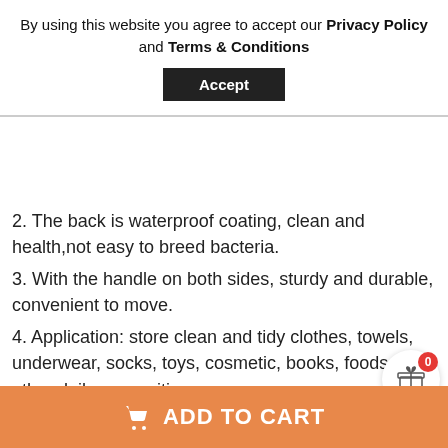By using this website you agree to accept our Privacy Policy and Terms & Conditions
Accept
2. The back is waterproof coating, clean and health,not easy to breed bacteria.
3. With the handle on both sides, sturdy and durable, convenient to move.
4. Application: store clean and tidy clothes, towels, underwear, socks, toys, cosmetic, books, foods and other daily necessities.
Specification
Colors: Yellow,Green,Black,White,Multicolor,Light Grey,Grey
ADD TO CART